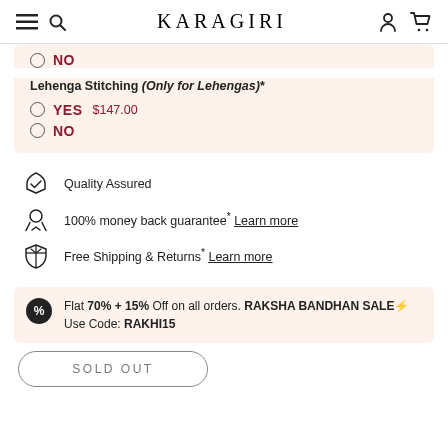KARAGIRI
NO
Lehenga Stitching (Only for Lehengas)*
YES $147.00
NO
Quality Assured
100% money back guarantee* Learn more
Free Shipping & Returns* Learn more
Flat 70% + 15% Off on all orders. RAKSHA BANDHAN SALE⚡ Use Code: RAKHI15
SOLD OUT